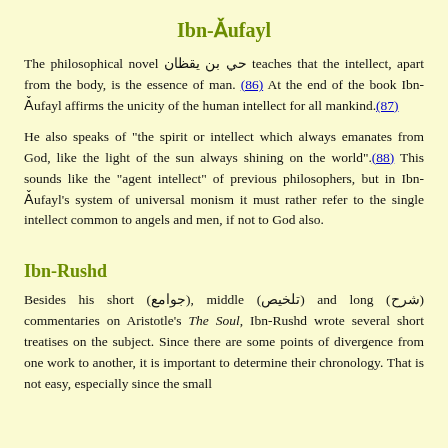Ibn-Ǎufayl
The philosophical novel حي بن يقظان teaches that the intellect, apart from the body, is the essence of man. (86) At the end of the book Ibn-Ǎufayl affirms the unicity of the human intellect for all mankind. (87)
He also speaks of "the spirit or intellect which always emanates from God, like the light of the sun always shining on the world". (88) This sounds like the "agent intellect" of previous philosophers, but in Ibn-Ǎufayl's system of universal monism it must rather refer to the single intellect common to angels and men, if not to God also.
Ibn-Rushd
Besides his short (جوامع), middle (تلخيص) and long (شرح) commentaries on Aristotle's The Soul, Ibn-Rushd wrote several short treatises on the subject. Since there are some points of divergence from one work to another, it is important to determine their chronology. That is not easy, especially since the small